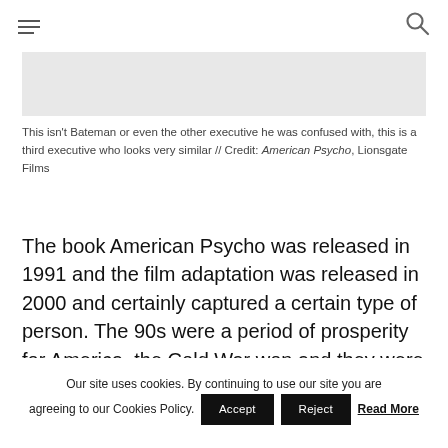Menu / Search
[Figure (photo): Partially visible grey image placeholder at top of article]
This isn't Bateman or even the other executive he was confused with, this is a third executive who looks very similar // Credit: American Psycho, Lionsgate Films
The book American Psycho was released in 1991 and the film adaptation was released in 2000 and certainly captured a certain type of person. The 90s were a period of prosperity for America, the Cold War won and they were running the world.
Our site uses cookies. By continuing to use our site you are agreeing to our Cookies Policy. Accept Reject Read More